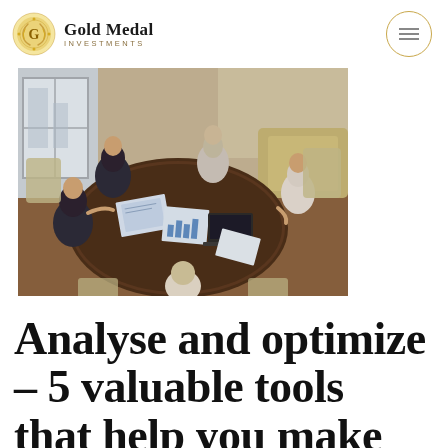Gold Medal Investments
[Figure (photo): Overhead view of business professionals sitting around a conference table covered with documents, charts, and a laptop, engaged in a meeting.]
Analyse and optimize – 5 valuable tools that help you make